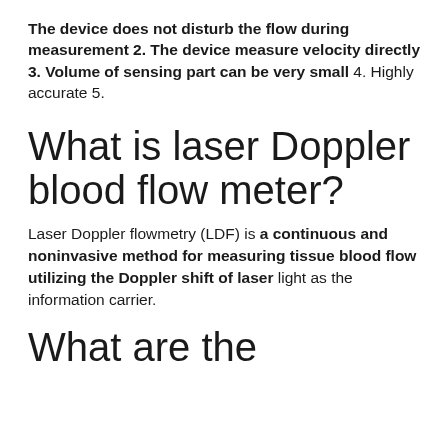The device does not disturb the flow during measurement 2. The device measure velocity directly 3. Volume of sensing part can be very small 4. Highly accurate 5.
What is laser Doppler blood flow meter?
Laser Doppler flowmetry (LDF) is a continuous and noninvasive method for measuring tissue blood flow utilizing the Doppler shift of laser light as the information carrier.
What are the